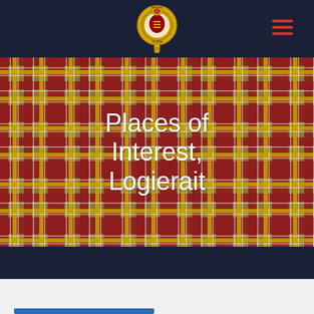[Figure (logo): Scottish clan crest badge - circular emblem with gold/yellow colors and text around the rim, set on dark navy navigation bar]
[Figure (illustration): Tartan plaid background in red, yellow/gold, olive green, and white diagonal stripe pattern - Scottish tartan fabric texture]
Places of Interest, Logierait
[Figure (other): Dark navy footer bar at bottom of hero section]